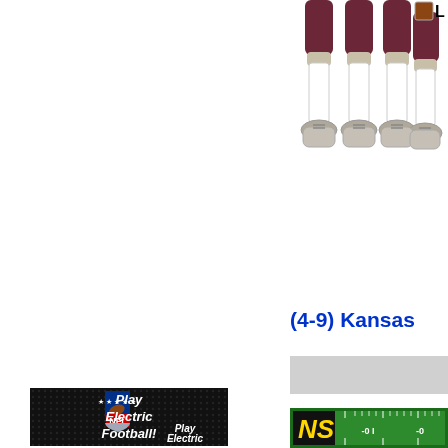[Figure (illustration): Two football player figures from the legs down, wearing dark maroon/brown shorts, white socks and gray cleats, shown from approximately the waist/thigh area down. A small color swatch labeled 'L' appears in the upper right corner.]
(4-9) Kansas
[Figure (illustration): Gray horizontal bar, likely part of a game UI or scoreboard element]
[Figure (illustration): NFL logo card with dark background, NFL shield logo (blue with stars and football, red NFL letters), and text 'Play Electric Football!' in white italic bold below the logo]
[Figure (illustration): Green football field with yard line markings showing -0 I and -0, with a black end zone area on left with yellow letters 'NS' visible (part of REDSKINS or similar team name)]